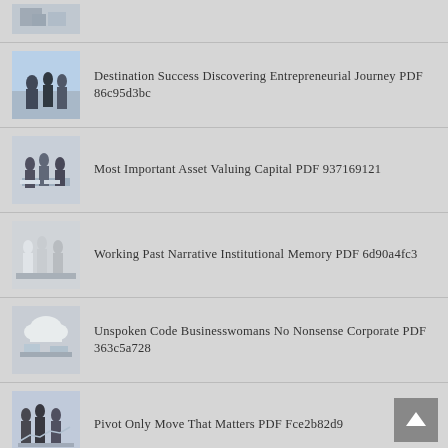[Figure (photo): Partial view of a business/office meeting thumbnail at top of list]
Destination Success Discovering Entrepreneurial Journey PDF 86c95d3bc
Most Important Asset Valuing Capital PDF 937169121
Working Past Narrative Institutional Memory PDF 6d90a4fc3
Unspoken Code Businesswomans No Nonsense Corporate PDF 363c5a728
Pivot Only Move That Matters PDF Fce2b82d9